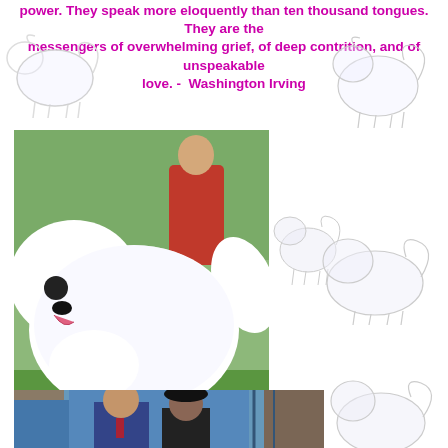power. They speak more eloquently than ten thousand tongues. They are the messengers of overwhelming grief, of deep contrition, and of unspeakable love. -  Washington Irving
[Figure (photo): White Samoyed dog sketch illustration, top left corner]
[Figure (photo): White Samoyed dog sketch illustration, top right corner]
[Figure (photo): Large color photograph of a white fluffy Samoyed dog standing on grass outdoors]
[Figure (photo): White Samoyed dog sketch illustration, middle center-right]
[Figure (photo): White Samoyed dog sketch illustration, middle right]
[Figure (photo): White Samoyed dog sketch illustration, bottom right]
[Figure (photo): Color photograph of two people (a man in a suit and a woman in dark clothing) standing outdoors near a building]